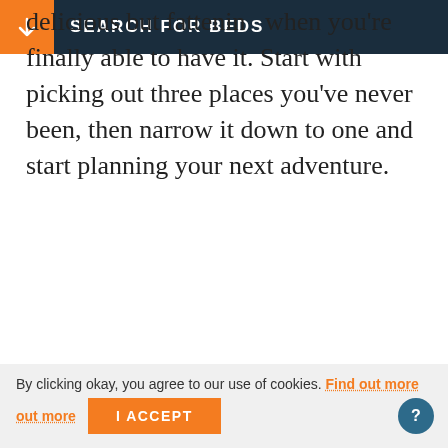SEARCH FOR BEDS
delicious but fattening when you're finally able to have it. Start with picking out three places you've never been, then narrow it down to one and start planning your next adventure.
Nonetheless, I do want you to be mindful that it's easy to get stuck in longing for the feeling that travel brings. I want to encourage you not to become stuck while chasing that feeling. If we're always chasing
By clicking okay, you agree to our use of cookies. Find out more   I ACCEPT